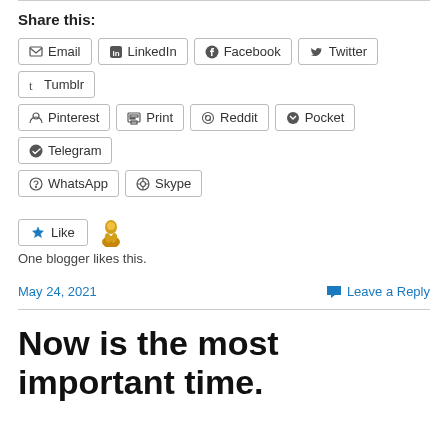Share this:
[Figure (other): Share buttons row 1: Email, LinkedIn, Facebook, Twitter, Tumblr]
[Figure (other): Share buttons row 2: Pinterest, Print, Reddit, Pocket, Telegram]
[Figure (other): Share buttons row 3: WhatsApp, Skype]
[Figure (other): Like button with golden blogger avatar]
One blogger likes this.
May 24, 2021
Leave a Reply
Now is the most important time.